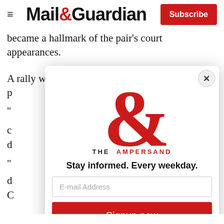Mail&Guardian | Subscribe
became a hallmark of the pair's court appearances.
A rally with journalists and activists is due to take p
[Figure (logo): The Ampersand newsletter modal popup with red ampersand logo, tagline 'THE AMPERSAND', text 'Stay informed. Every weekday.', email address input field, and 'Signup now' red button. Close button (X) in top right corner.]